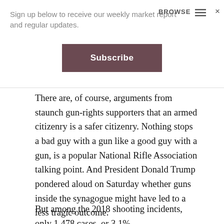Sign up below to receive our weekly market report and regular updates.
Subscribe
There are, of course, arguments from staunch gun-rights supporters that an armed citizenry is a safer citizenry. Nothing stops a bad guy with a gun like a good guy with a gun, is a popular National Rifle Association talking point. And President Donald Trump pondered aloud on Saturday whether guns inside the synagogue might have led to a less tragic outcome.
But among the 2018 shooting incidents, only 1,478 cases, or 3.1%